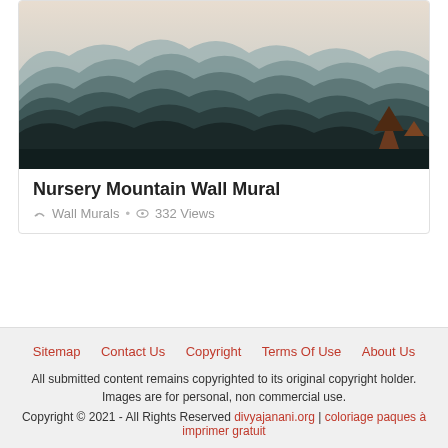[Figure (photo): Nursery mountain wall mural painting showing layered mountain silhouettes in shades of teal and dark green/grey, with a small painted tree figure in the bottom right corner. The sky is a light beige/cream gradient.]
Nursery Mountain Wall Mural
Wall Murals • 332 Views
Sitemap | Contact Us | Copyright | Terms Of Use | About Us
All submitted content remains copyrighted to its original copyright holder. Images are for personal, non commercial use.
Copyright © 2021 - All Rights Reserved divyajanani.org | coloriage paques à imprimer gratuit